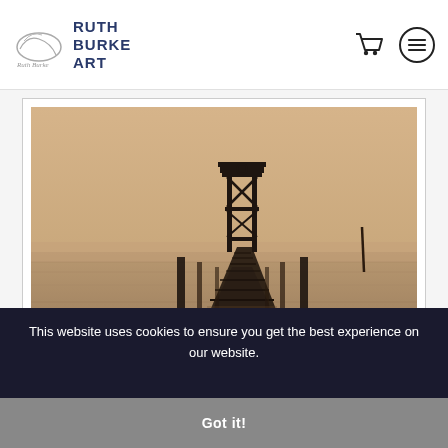RUTH BURKE ART
[Figure (photo): Sepia-toned photograph of a deteriorating wooden pier or dock extending into calm water, with a metal structure at the end, foggy atmospheric background]
SEASIDE MEMORIES II
This website uses cookies to ensure you get the best experience on our website.
Got it!